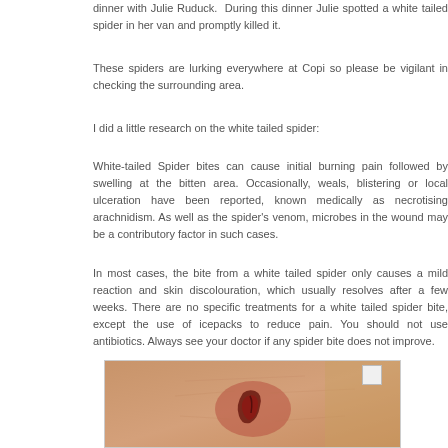dinner with Julie Ruduck.  During this dinner Julie spotted a white tailed spider in her van and promptly killed it.
These spiders are lurking everywhere at Copi so please be vigilant in checking the surrounding area.
I did a little research on the white tailed spider:
White-tailed Spider bites can cause initial burning pain followed by swelling at the bitten area. Occasionally, weals, blistering or local ulceration have been reported, known medically as necrotising arachnidism. As well as the spider's venom, microbes in the wound may be a contributory factor in such cases.
In most cases, the bite from a white tailed spider only causes a mild reaction and skin discolouration, which usually resolves after a few weeks. There are no specific treatments for a white tailed spider bite, except the use of icepacks to reduce pain. You should not use antibiotics. Always see your doctor if any spider bite does not improve.
[Figure (photo): Close-up photograph of a spider bite wound on a person's leg, showing a lesion with redness and skin damage.]